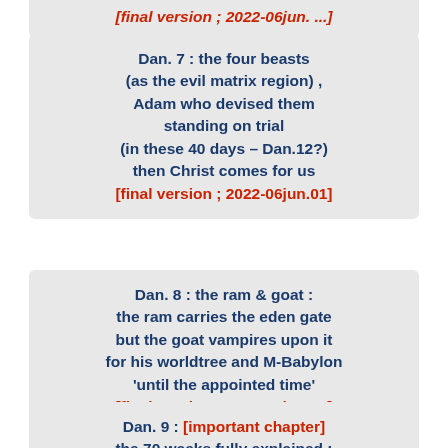[final version ; 2022-06jun...] (partial, top of page)
Dan. 7 : the four beasts (as the evil matrix region) , Adam who devised them standing on trial (in these 40 days – Dan.12?) then Christ comes for us [final version ; 2022-06jun.01]
Dan. 8 : the ram & goat : the ram carries the eden gate but the goat vampires upon it for his worldtree and M-Babylon 'until the appointed time' [final version ; 2022-06jun.04]
Dan. 9 : [important chapter] the 70 weeks fully explained : ...